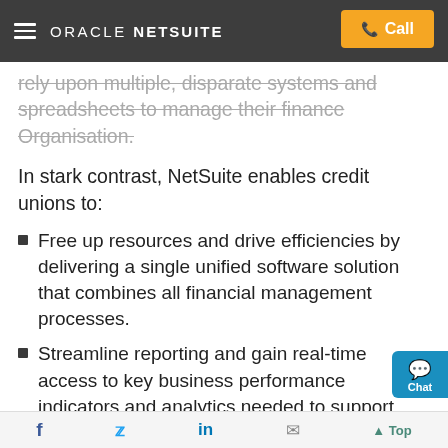ORACLE NETSUITE — Call
rely upon multiple, disparate systems and spreadsheets to manage their finance Organisation.
In stark contrast, NetSuite enables credit unions to:
Free up resources and drive efficiencies by delivering a single unified software solution that combines all financial management processes.
Streamline reporting and gain real-time access to key business performance indicators and analytics needed to support timely, data-driven decisions.
Leverage NetSuite SuiteCloud, a robust, scalable and flexible development platform designed for fast growing organisations to quickly and easily
f  Twitter  in  Email  Top